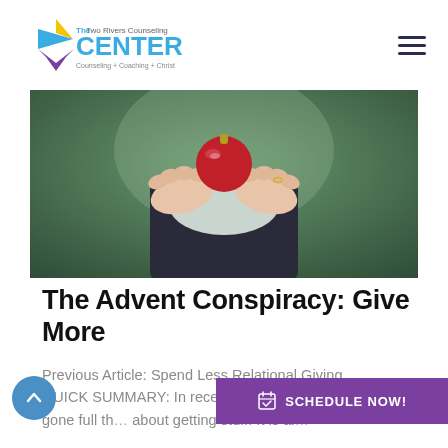The Two Rivers Counseling CENTER — Counseling + Coaching + Christ
[Figure (photo): Person holding a red Christmas ornament in cupped hands, blurred green background, wearing dark clothing with a ring on one hand]
The Advent Conspiracy: Give More
Previous Article: Spend Less Relational Giving QUICK SUMMARY: In recent years, Christmas has gone full th... about getting stuff. It is al...